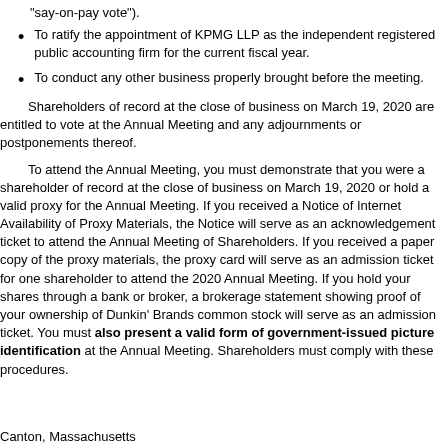To ratify the appointment of KPMG LLP as the independent registered public accounting firm for the current fiscal year.
To conduct any other business properly brought before the meeting.
Shareholders of record at the close of business on March 19, 2020 are entitled to vote at the Annual Meeting and any adjournments or postponements thereof.
To attend the Annual Meeting, you must demonstrate that you were a shareholder of record at the close of business on March 19, 2020 or hold a valid proxy for the Annual Meeting. If you received a Notice of Internet Availability of Proxy Materials, the Notice will serve as an admission ticket for one shareholder to attend the Annual Meeting of Shareholders. If you received a paper copy of the proxy materials, the proxy card will serve as an admission ticket for one shareholder to attend the 2020 Annual Meeting. If you hold your shares through a bank or broker, a brokerage statement showing proof of your ownership of Dunkin' Brands common stock will serve as an admission ticket. You must also present a valid form of government-issued picture identification at the Annual Meeting. Shareholders must comply with these procedures.
Canton, Massachusetts